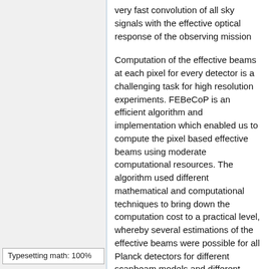very fast convolution of all sky signals with the effective optical response of the observing mission
Computation of the effective beams at each pixel for every detector is a challenging task for high resolution experiments. FEBeCoP is an efficient algorithm and implementation which enabled us to compute the pixel based effective beams using moderate computational resources. The algorithm used different mathematical and computational techniques to bring down the computation cost to a practical level, whereby several estimations of the effective beams were possible for all Planck detectors for different scanbeam models and different lengths of datasets.
Typesetting math: 100%